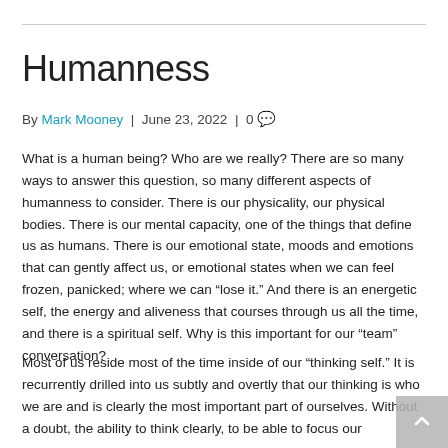Humanness
By Mark Mooney | June 23, 2022 | 0 💬
What is a human being? Who are we really? There are so many ways to answer this question, so many different aspects of humanness to consider. There is our physicality, our physical bodies. There is our mental capacity, one of the things that define us as humans. There is our emotional state, moods and emotions that can gently affect us, or emotional states when we can feel frozen, panicked; where we can “lose it.” And there is an energetic self, the energy and aliveness that courses through us all the time, and there is a spiritual self. Why is this important for our “team” conversation?
Most of us reside most of the time inside of our “thinking self.” It is recurrently drilled into us subtly and overtly that our thinking is who we are and is clearly the most important part of ourselves. Without a doubt, the ability to think clearly, to be able to focus our